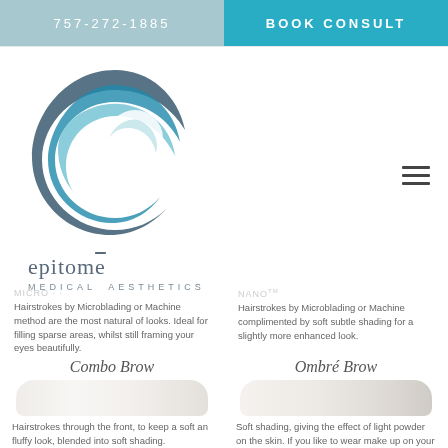757-272-1885 | BOOK CONSULT
[Figure (logo): Epitome Medical Aesthetics circular swirl logo in teal and dark blue]
epitomē MEDICAL AESTHETICS
Hairstrokes by Microblading or Machine method are the most natural of looks. Ideal for filling sparse areas, whilst still framing your eyes beautifully.
Hairstrokes by Microblading or Machine complimented by soft subtle shading for a slightly more enhanced look.
Combo Brow
Ombré Brow
[Figure (illustration): Light eyebrow illustration for Combo Brow]
[Figure (illustration): Light eyebrow illustration for Ombré Brow]
Hairstrokes through the front, to keep a soft an fluffy look, blended into soft shading.
Soft shading, giving the effect of light powder on the skin. If you like to wear make up on your brows, this is the choice for you.